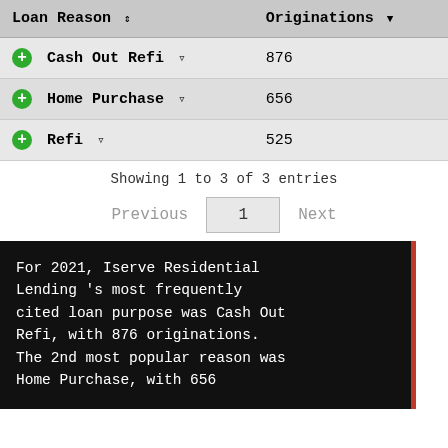| Loan Reason | Originations |
| --- | --- |
| Cash Out Refi | 876 |
| Home Purchase | 656 |
| Refi | 525 |
Showing 1 to 3 of 3 entries
Previous  1  Next
For 2021, Iserve Residential Lending 's most frequently cited loan purpose was Cash Out Refi, with 876 originations. The 2nd most popular reason was Home Purchase, with 656...